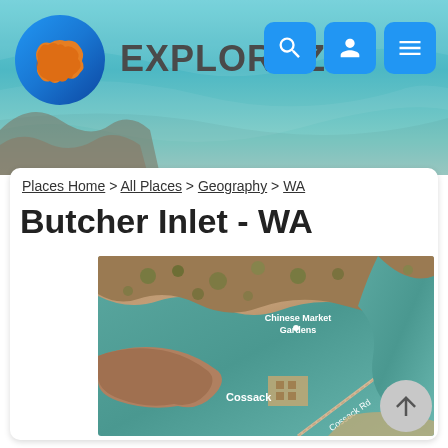EXPLOROZ
Places Home > All Places > Geography > WA
Butcher Inlet - WA
[Figure (map): Satellite aerial map showing Butcher Inlet area near Cossack, Western Australia. Labels visible: Chinese Market Gardens, Cossack, Cossack Rd.]